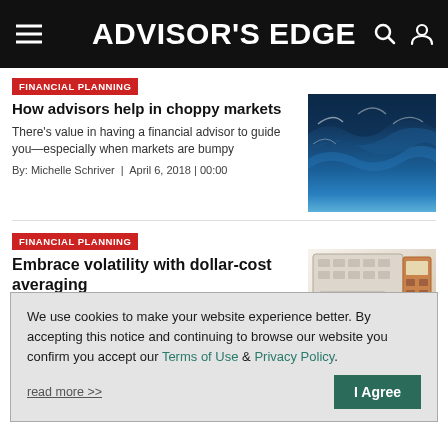ADVISOR'S EDGE
FINANCIAL PLANNING
How advisors help in choppy markets
There's value in having a financial advisor to guide you—especially when markets are bumpy
By: Michelle Schriver  |  April 6, 2018 | 00:00
[Figure (photo): Choppy ocean waves with stormy blue water]
FINANCIAL PLANNING
Embrace volatility with dollar-cost averaging
[Figure (photo): Keyboard, small tree, and calculator on a desk]
We use cookies to make your website experience better. By accepting this notice and continuing to browse our website you confirm you accept our Terms of Use & Privacy Policy.
read more >>
I Agree
FINANCIAL PLANNING